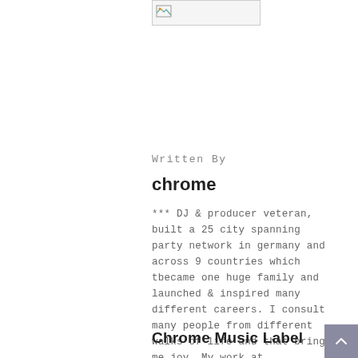[Figure (illustration): Small broken/placeholder image icon in top area]
Written By
chrome
*** DJ & producer veteran, built a 25 city spanning party network in germany and across 9 countries which tbecame one huge family and launched & inspired many different careers. I consult many people from different walks of life and that brings me joy. My work at ChromeMusic has always been out of passion and i am grateful for that.
Chrome Music Label